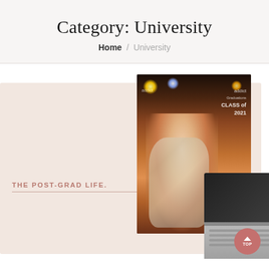Category: University
Home / University
[Figure (photo): Blog category page for University. Left card has peach/blush background with 'THE POST-GRAD LIFE.' text. Center photo shows a woman in a sparkly dress at an event with 'Class of 2021' signage and stage lighting. Bottom right shows a laptop on a desk. A pink circular 'TOP' button appears in bottom right.]